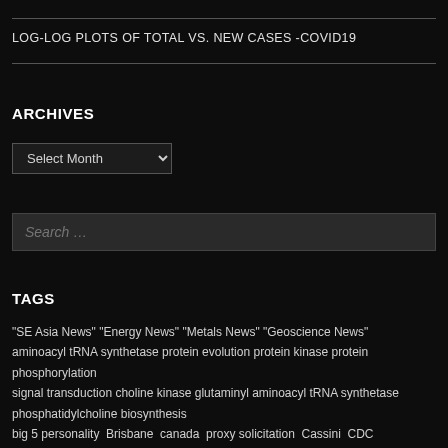LOG-LOG PLOTS OF TOTAL VS. NEW CASES -COVID19
ARCHIVES
Select Month
Search …
TAGS
"SE Asia News" "Energy News" "Metals News" "Geoscience News" aminoacyl tRNA synthetase protein evolution protein kinase protein phosphorylation signal transduction choline kinase glutaminyl aminoacyl tRNA synthetase phosphatidylcholine biosynthesis big 5 personality Brisbane canada proxy solicitation Cassini CDC Chevron oil gas condensate indonesia petroleum banka kutei Climate Change